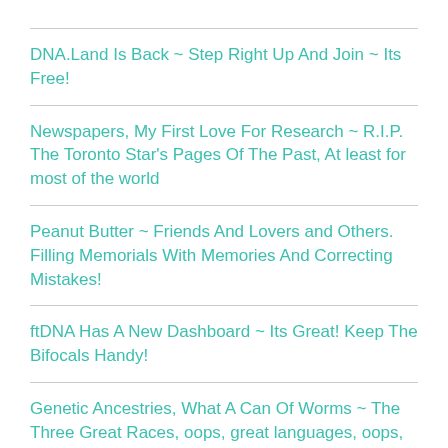DNA.Land Is Back ~ Step Right Up And Join ~ Its Free!
Newspapers, My First Love For Research ~ R.I.P. The Toronto Star's Pages Of The Past, At least for most of the world
Peanut Butter ~ Friends And Lovers and Others. Filling Memorials With Memories And Correcting Mistakes!
ftDNA Has A New Dashboard ~ Its Great! Keep The Bifocals Handy!
Genetic Ancestries, What A Can Of Worms ~ The Three Great Races, oops, great languages, oops, great haplogroups